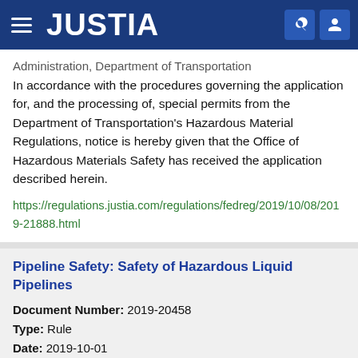JUSTIA
Administration, Department of Transportation
In accordance with the procedures governing the application for, and the processing of, special permits from the Department of Transportation's Hazardous Material Regulations, notice is hereby given that the Office of Hazardous Materials Safety has received the application described herein.
https://regulations.justia.com/regulations/fedreg/2019/10/08/2019-21888.html
Pipeline Safety: Safety of Hazardous Liquid Pipelines
Document Number: 2019-20458
Type: Rule
Date: 2019-10-01
Agency: Pipeline and Hazardous Materials Safety Administration, Department of Transportation
...